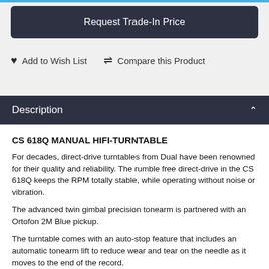Request Trade-In Price
Add to Wish List   Compare this Product
Description
CS 618Q MANUAL HIFI-TURNTABLE
For decades, direct-drive turntables from Dual have been renowned for their quality and reliability. The rumble free direct-drive in the CS 618Q keeps the RPM totally stable, while operating without noise or vibration.
The advanced twin gimbal precision tonearm is partnered with an Ortofon 2M Blue pickup.
The turntable comes with an auto-stop feature that includes an automatic tonearm lift to reduce wear and tear on the needle as it moves to the end of the record.